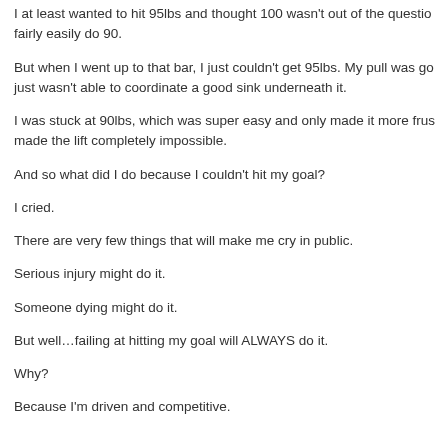I at least wanted to hit 95lbs and thought 100 wasn't out of the question. fairly easily do 90.
But when I went up to that bar, I just couldn't get 95lbs. My pull was go just wasn't able to coordinate a good sink underneath it.
I was stuck at 90lbs, which was super easy and only made it more frus made the lift completely impossible.
And so what did I do because I couldn't hit my goal?
I cried.
There are very few things that will make me cry in public.
Serious injury might do it.
Someone dying might do it.
But well…failing at hitting my goal will ALWAYS do it.
Why?
Because I'm driven and competitive.